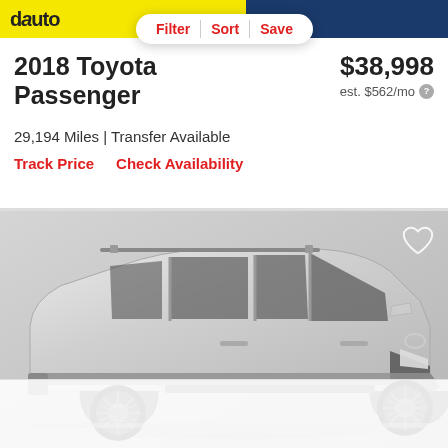dauto (partial logo visible)
Filter | Sort | Save
2018 Toyota Passenger
$38,998
est. $562/mo
29,194 Miles | Transfer Available
Track Price   Check Availability
[Figure (photo): Silver 2018 Toyota Sienna minivan photographed in a studio setting against a light gray background, shown from a 3/4 front angle. A heart/favorite icon appears in the upper right corner.]